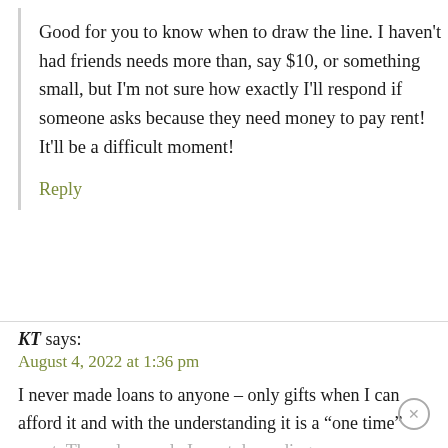Good for you to know when to draw the line. I haven't had friends needs more than, say $10, or something small, but I'm not sure how exactly I'll respond if someone asks because they need money to pay rent! It'll be a difficult moment!
Reply
KT says:
August 4, 2022 at 1:36 pm
I never made loans to anyone – only gifts when I can afford it and with the understanding it is a “one time” event. The only people I want depending on me regularly for financial support are my parents, my